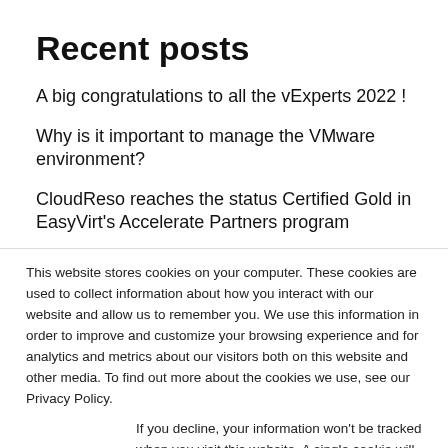Recent posts
A big congratulations to all the vExperts 2022 !
Why is it important to manage the VMware environment?
CloudReso reaches the status Certified Gold in EasyVirt's Accelerate Partners program
This website stores cookies on your computer. These cookies are used to collect information about how you interact with our website and allow us to remember you. We use this information in order to improve and customize your browsing experience and for analytics and metrics about our visitors both on this website and other media. To find out more about the cookies we use, see our Privacy Policy.
If you decline, your information won't be tracked when you visit this website. A single cookie will be used in your browser to remember your preference not to be tracked.